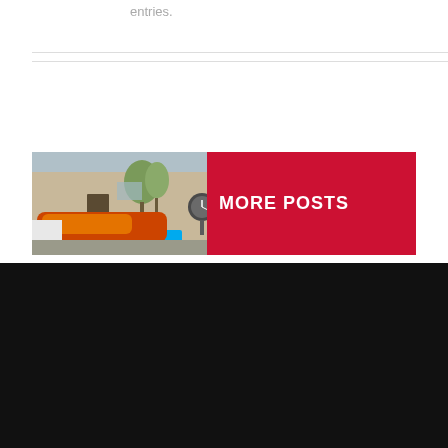entries.
[Figure (photo): Photo of a colorful electric vehicle (blue/orange gradient roof) parked in front of a modern house with trees and a spherical sculpture]
MORE POSTS
© Copyright 2018 - 2022   |   Tesla Road Trip   |   All Rights Reserved